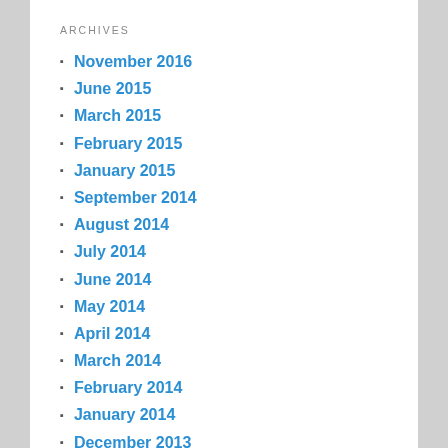ARCHIVES
November 2016
June 2015
March 2015
February 2015
January 2015
September 2014
August 2014
July 2014
June 2014
May 2014
April 2014
March 2014
February 2014
January 2014
December 2013
November 2013
October 2013
September 2013
August 2013